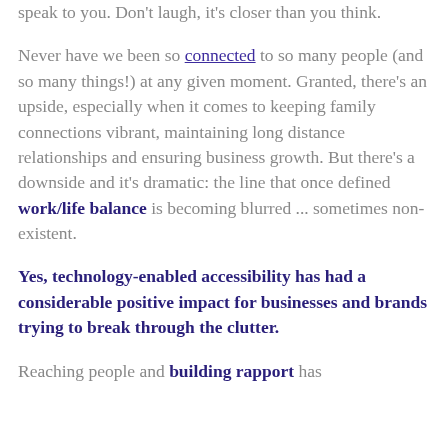speak to you. Don't laugh, it's closer than you think.
Never have we been so connected to so many people (and so many things!) at any given moment. Granted, there's an upside, especially when it comes to keeping family connections vibrant, maintaining long distance relationships and ensuring business growth. But there's a downside and it's dramatic: the line that once defined work/life balance is becoming blurred ... sometimes non-existent.
Yes, technology-enabled accessibility has had a considerable positive impact for businesses and brands trying to break through the clutter.
Reaching people and building rapport has